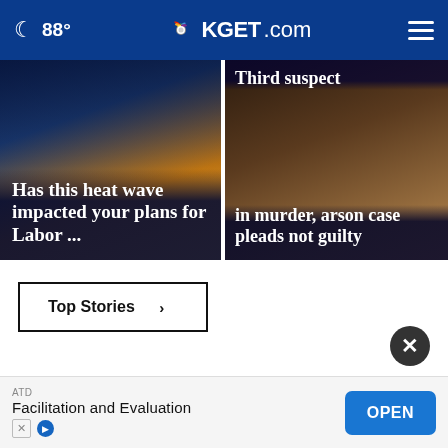🌙 88° KGET.com ☰
[Figure (screenshot): News thumbnail left: heat lightning background with headline 'Has this heat wave impacted your plans for Labor ...']
[Figure (screenshot): News thumbnail right: dark silhouette background with headline 'Third suspect in murder, arson case pleads not guilty']
Top Stories ›
[Figure (other): Green loading spinner bars in center of page]
[Figure (other): Dark circular close/X button]
ATD
Facilitation and Evaluation
OPEN